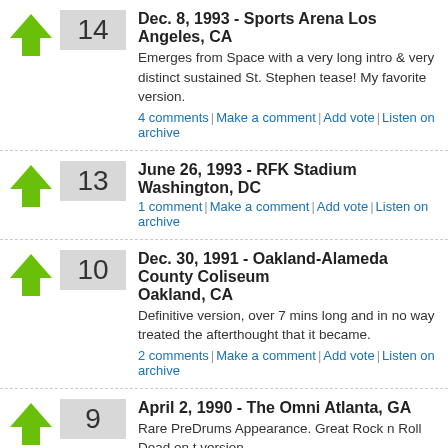14 - Dec. 8, 1993 - Sports Arena Los Angeles, CA
Emerges from Space with a very long intro & very distinct sustained St. Stephen tease! My favorite version.
4 comments | Make a comment | Add vote | Listen on archive
13 - June 26, 1993 - RFK Stadium Washington, DC
1 comment | Make a comment | Add vote | Listen on archive
10 - Dec. 30, 1991 - Oakland-Alameda County Coliseum Oakland, CA
Definitive version, over 7 mins long and in no way treated the afterthought that it became.
2 comments | Make a comment | Add vote | Listen on archive
9 - April 2, 1990 - The Omni Atlanta, GA
Rare PreDrums Appearance. Great Rock n Roll Dead on t version.
0 comments | Make a comment | Add vote | Listen on archive